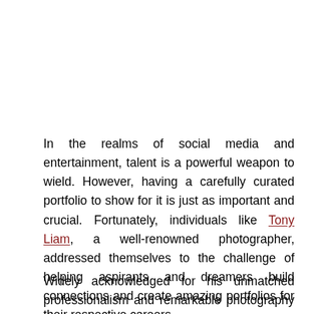In the realms of social media and entertainment, talent is a powerful weapon to wield. However, having a carefully curated portfolio to show for it is just as important and crucial. Fortunately, individuals like Tony Liam, a well-renowned photographer, addressed themselves to the challenge of helping aspirants and dreamers build connections and create amazing portfolios for their respective careers.
Widely acknowledged for his unmatched professionalism and remarkable photography skills, Tony Liam serves as the…